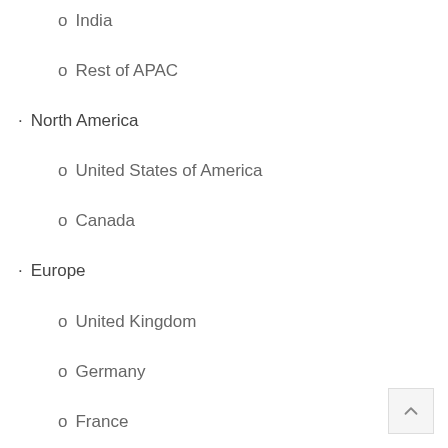o India
o Rest of APAC
· North America
o United States of America
o Canada
· Europe
o United Kingdom
o Germany
o France
o Spain
o Rest of Europe